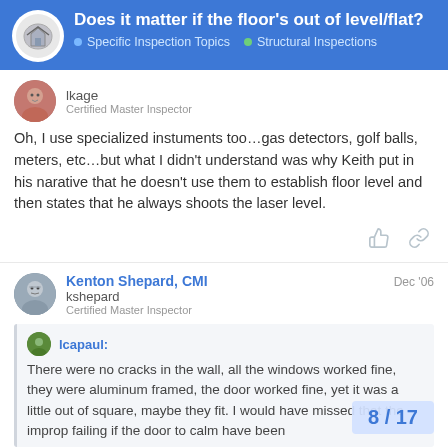Does it matter if the floor's out of level/flat? — Specific Inspection Topics · Structural Inspections
lkage
Certified Master Inspector
Oh, I use specialized instuments too…gas detectors, golf balls, meters, etc…but what I didn't understand was why Keith put in his narative that he doesn't use them to establish floor level and then states that he always shoots the laser level.
Kenton Shepard, CMI
kshepard
Certified Master Inspector
Dec '06
lcapaul:
There were no cracks in the wall, all the windows worked fine, they were aluminum framed, the door worked fine, yet it was a little out of square, maybe they fit. I would have missed that the improp failing if the door to calm have been
8 / 17